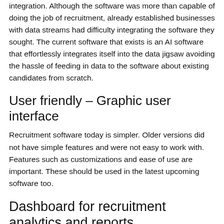integration. Although the software was more than capable of doing the job of recruitment, already established businesses with data streams had difficulty integrating the software they sought. The current software that exists is an AI software that effortlessly integrates itself into the data jigsaw avoiding the hassle of feeding in data to the software about existing candidates from scratch.
User friendly – Graphic user interface
Recruitment software today is simpler. Older versions did not have simple features and were not easy to work with. Features such as customizations and ease of use are important. These should be used in the latest upcoming software too.
Dashboard for recruitment analytics and reports